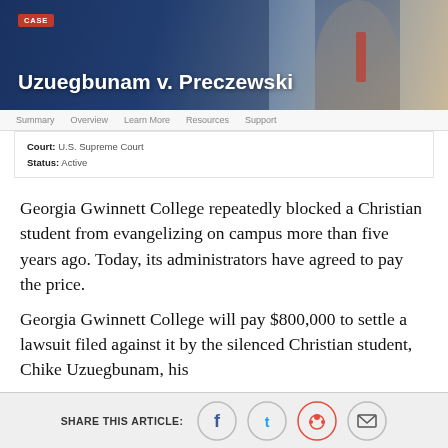[Figure (screenshot): Website header image for the case Uzuegbunam v. Preczewski showing a Black man in a blue suit with red tie against a classical building background. Red 'CASE' label badge at top left. White title text reads 'Uzuegbunam v. Preczewski'.]
Summary | Overview | Learn More | Resources | Support
Court: U.S. Supreme Court
Status: Active
Georgia Gwinnett College repeatedly blocked a Christian student from evangelizing on campus more than five years ago. Today, its administrators have agreed to pay the price.
Georgia Gwinnett College will pay $800,000 to settle a lawsuit filed against it by the silenced Christian student, Chike Uzuegbunam, his
SHARE THIS ARTICLE: